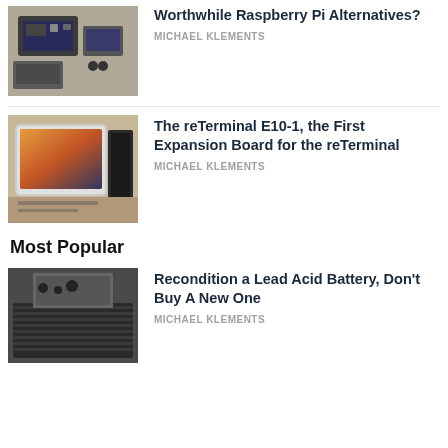[Figure (photo): Raspberry Pi and alternative single-board computers on a desk]
Worthwhile Raspberry Pi Alternatives?
MICHAEL KLEMENTS
[Figure (photo): reTerminal E10-1 expansion board device with screen]
The reTerminal E10-1, the First Expansion Board for the reTerminal
MICHAEL KLEMENTS
Most Popular
[Figure (photo): Lead acid battery reconditioning - battery with screws]
Recondition a Lead Acid Battery, Don't Buy A New One
MICHAEL KLEMENTS